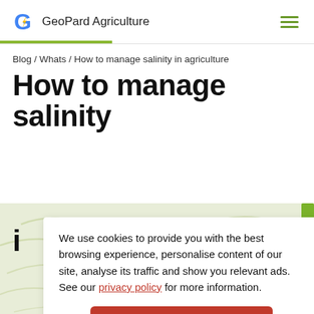[Figure (logo): GeoPard Agriculture logo with colorful G icon and company name]
[Figure (illustration): Hamburger menu icon with three green horizontal lines]
Blog / Whats / How to manage salinity in agriculture
How to manage salinity i
[Figure (map): Background map/terrain illustration with light green swirl contour lines]
We use cookies to provide you with the best browsing experience, personalise content of our site, analyse its traffic and show you relevant ads.
See our privacy policy for more information.
Accept all